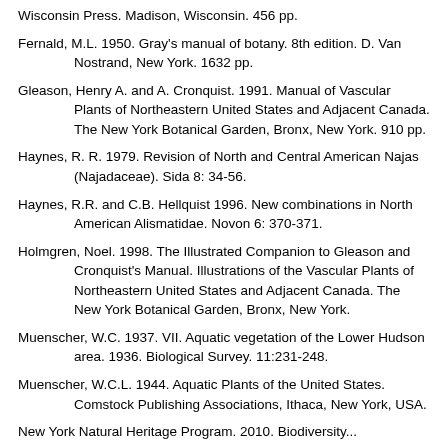Wisconsin Press. Madison, Wisconsin. 456 pp.
Fernald, M.L. 1950. Gray's manual of botany. 8th edition. D. Van Nostrand, New York. 1632 pp.
Gleason, Henry A. and A. Cronquist. 1991. Manual of Vascular Plants of Northeastern United States and Adjacent Canada. The New York Botanical Garden, Bronx, New York. 910 pp.
Haynes, R. R. 1979. Revision of North and Central American Najas (Najadaceae). Sida 8: 34-56.
Haynes, R.R. and C.B. Hellquist 1996. New combinations in North American Alismatidae. Novon 6: 370-371.
Holmgren, Noel. 1998. The Illustrated Companion to Gleason and Cronquist's Manual. Illustrations of the Vascular Plants of Northeastern United States and Adjacent Canada. The New York Botanical Garden, Bronx, New York.
Muenscher, W.C. 1937. VII. Aquatic vegetation of the Lower Hudson area. 1936. Biological Survey. 11:231-248.
Muenscher, W.C.L. 1944. Aquatic Plants of the United States. Comstock Publishing Associations, Ithaca, New York, USA.
New York Natural Heritage Program. 2010. Biodiversity...